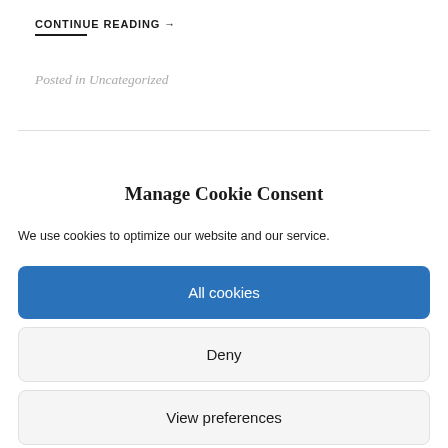CONTINUE READING →
Posted in Uncategorized
Manage Cookie Consent
We use cookies to optimize our website and our service.
All cookies
Deny
View preferences